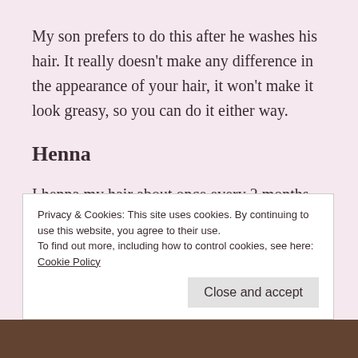My son prefers to do this after he washes his hair. It really doesn't make any difference in the appearance of your hair, it won't make it look greasy, so you can do it either way.
Henna
I henna my hair about once every 2 months. Because…….. I have a few grey hairs already! Hush, it's a secret. Don't tell anyone.
Privacy & Cookies: This site uses cookies. By continuing to use this website, you agree to their use.
To find out more, including how to control cookies, see here: Cookie Policy
[Figure (photo): Bottom strip showing a photo of hair]